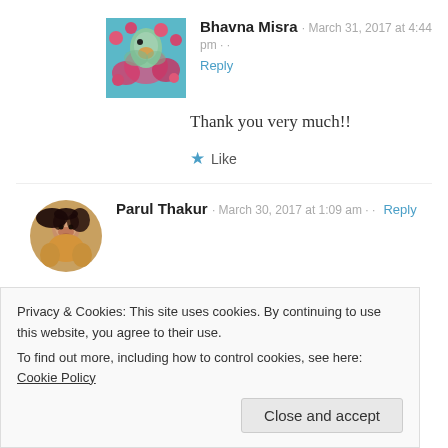[Figure (photo): Avatar image of Bhavna Misra - colorful bird painting thumbnail]
Bhavna Misra · March 31, 2017 at 4:44 pm ··
Reply
Thank you very much!!
★ Like
[Figure (photo): Avatar photo of Parul Thakur - woman with dark hair wearing yellow]
Parul Thakur · March 30, 2017 at 1:09 am · · Reply
Gorgeous work! Love the colors and the presentation.
★ Liked by 1 person
Privacy & Cookies: This site uses cookies. By continuing to use this website, you agree to their use.
To find out more, including how to control cookies, see here: Cookie Policy
Close and accept